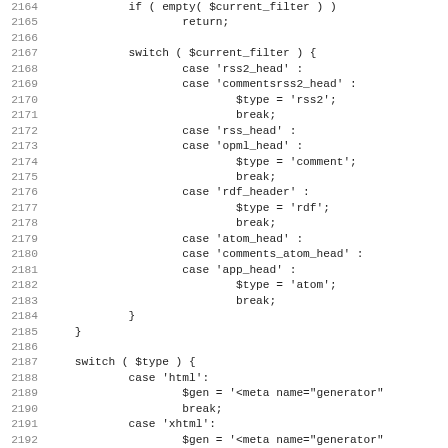Code listing lines 2164-2195 showing PHP switch statement for filter/type handling